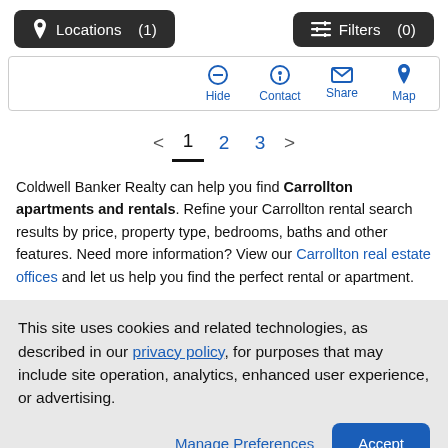Locations (1)   Filters (0)
[Figure (screenshot): Action bar with Hide, Contact, Share, Map icon buttons in blue]
< 1 2 3 >
Coldwell Banker Realty can help you find Carrollton apartments and rentals. Refine your Carrollton rental search results by price, property type, bedrooms, baths and other features. Need more information? View our Carrollton real estate offices and let us help you find the perfect rental or apartment.
This site uses cookies and related technologies, as described in our privacy policy, for purposes that may include site operation, analytics, enhanced user experience, or advertising.
Manage Preferences   Accept